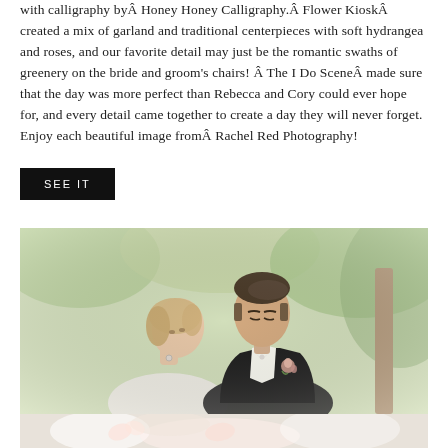with calligraphy byÂ Honey Honey Calligraphy.Â Flower KioskÂ created a mix of garland and traditional centerpieces with soft hydrangea and roses, and our favorite detail may just be the romantic swaths of greenery on the bride and groom's chairs! Â The I Do SceneÂ made sure that the day was more perfect than Rebecca and Cory could ever hope for, and every detail came together to create a day they will never forget. Enjoy each beautiful image fromÂ Rachel Red Photography!
SEE IT
[Figure (photo): Wedding portrait of a bride and groom outdoors. The bride leans her head on the groom's shoulder. The groom wears a dark suit with a white bow tie and floral boutonniere. The background shows soft green foliage.]
[Figure (photo): Partial view of a second wedding photo showing soft white and floral details, likely a close-up of wedding attire or flowers.]